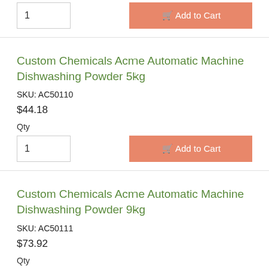1
Add to Cart
Custom Chemicals Acme Automatic Machine Dishwashing Powder 5kg
SKU: AC50110
$44.18
Qty
1
Add to Cart
Custom Chemicals Acme Automatic Machine Dishwashing Powder 9kg
SKU: AC50111
$73.92
Qty